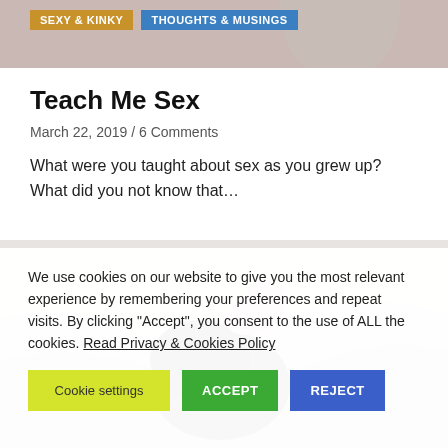SEXY & KINKY | THOUGHTS & MUSINGS
[Figure (photo): Top banner image with muted pinkish-beige background, partially visible]
Teach Me Sex
March 22, 2019 / 6 Comments
What were you taught about sex as you grew up? What did you not know that…
[Figure (photo): Person lying on white sheets, dark hair, hand raised above head]
We use cookies on our website to give you the most relevant experience by remembering your preferences and repeat visits. By clicking "Accept", you consent to the use of ALL the cookies. Read Privacy & Cookies Policy
Cookie settings | ACCEPT | REJECT